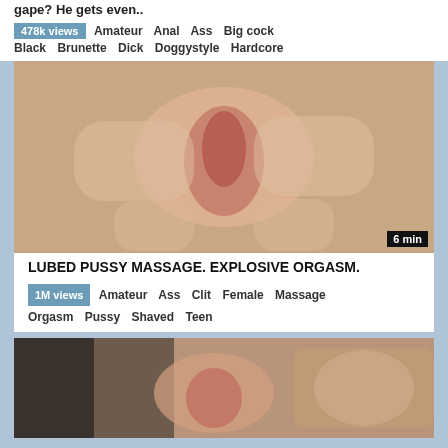gape? He gets even..
478k views  Amateur  Anal  Ass  Big cock  Black  Brunette  Dick  Doggystyle  Hardcore
[Figure (photo): Close-up adult content thumbnail with duration badge showing 6 min]
LUBED PUSSY MASSAGE. EXPLOSIVE ORGASM.
1M views  Amateur  Ass  Clit  Female  Massage  Orgasm  Pussy  Shaved  Teen
[Figure (photo): Close-up adult content thumbnail, partially visible at bottom of page]